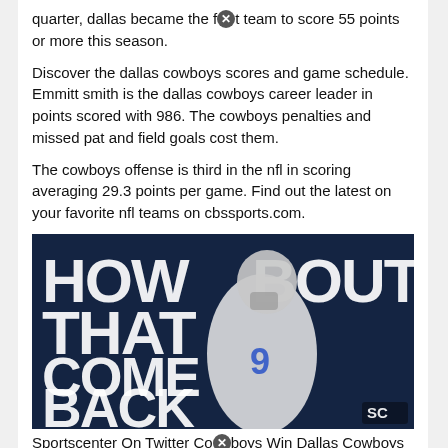quarter, dallas became the fⓧt team to score 55 points or more this season.
Discover the dallas cowboys scores and game schedule. Emmitt smith is the dallas cowboys career leader in points scored with 986. The cowboys penalties and missed pat and field goals cost them.
The cowboys offense is third in the nfl in scoring averaging 29.3 points per game. Find out the latest on your favorite nfl teams on cbssports.com.
[Figure (photo): Sports promotional image with large distressed white text reading 'HOW BOUT THAT COME BACK' with a Dallas Cowboys football player wearing jersey #9 celebrating, dark blue background, ESPN SportsCenter logo in bottom right corner.]
Sportscenter On Twitter Coⓧboys Win Dallas Cowboys